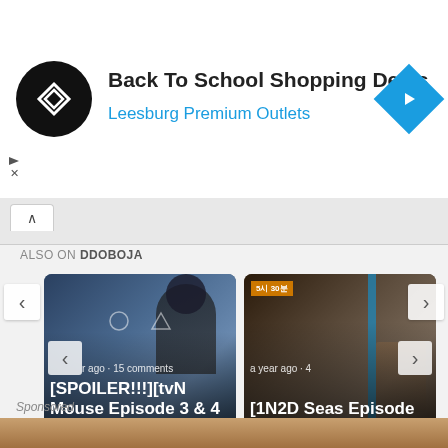[Figure (infographic): Ad banner: Back To School Shopping Deals at Leesburg Premium Outlets with logo and navigation icon]
Back To School Shopping Deals
Leesburg Premium Outlets
ALSO ON DDOBOJA
[Figure (photo): Korean drama thumbnail: [SPOILER!!!][tvN Mouse Episode 3 & 4 ... - a year ago · 15 comments]
[Figure (photo): Korean variety show thumbnail: [1N2D Seas Episode 69 Roundup + - a year ago · 4 comments]
Sponsored
[Figure (photo): Sponsored content image showing food/drink]